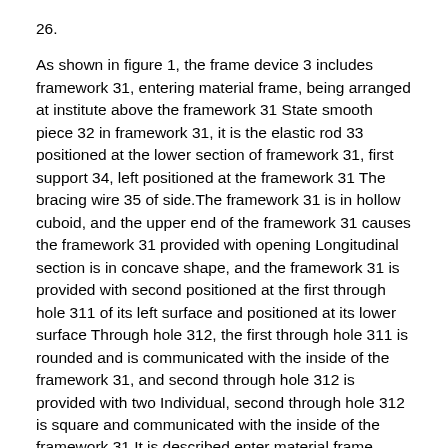26.
As shown in figure 1, the frame device 3 includes framework 31, entering material frame, being arranged at institute above the framework 31 State smooth piece 32 in framework 31, it is the elastic rod 33 positioned at the lower section of framework 31, first support 34, left positioned at the framework 31 The bracing wire 35 of side.The framework 31 is in hollow cuboid, and the upper end of the framework 31 causes the framework 31 provided with opening Longitudinal section is in concave shape, and the framework 31 is provided with second positioned at the first through hole 311 of its left surface and positioned at its lower surface Through hole 312, the first through hole 311 is rounded and is communicated with the inside of the framework 31, and second through hole 312 is provided with two Individual, second through hole 312 is square and communicated with the inside of the framework 31.It is described enter material frame longitudinal section in isosceles ladder Shape, it is described enter material frame upper and lower surface communicate, it is described enter material frame lower surface be fixedly connected with the upper surface of the